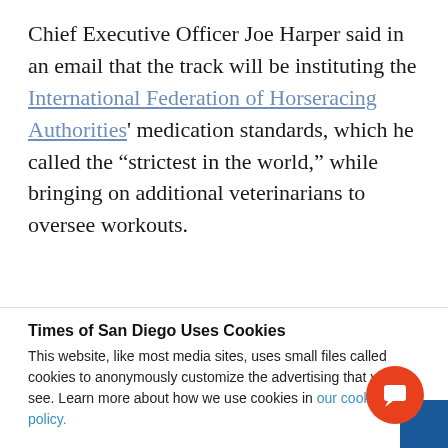Chief Executive Officer Joe Harper said in an email that the track will be instituting the International Federation of Horseracing Authorities' medication standards, which he called the "strictest in the world," while bringing on additional veterinarians to oversee workouts.
“Del Mar is committed to the industry’s most
Times of San Diego Uses Cookies
This website, like most media sites, uses small files called cookies to anonymously customize the advertising that you see. Learn more about how we use cookies in our cookie policy.